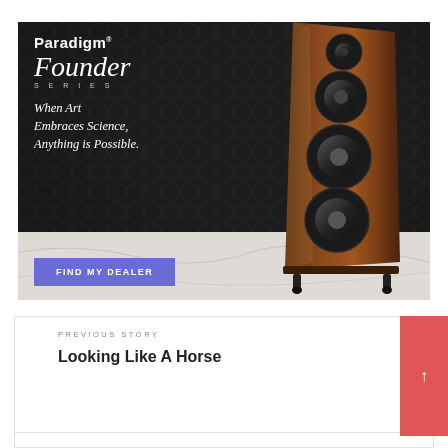[Figure (illustration): Paradigm Founder Series advertisement. Dark mesh/hex textured background on top portion. Left side shows brand name 'Paradigm' in bold white, 'Founder' in italic script, 'SERIES' in spaced caps, and tagline 'When Art Embraces Science, Anything is Possible.' Bottom portion has light marble/stone background with a blue 'FIND MY DEALER' button. Right side shows a tall walnut floor-standing speaker tower.]
PREVIOUS STORY
Looking Like A Horse